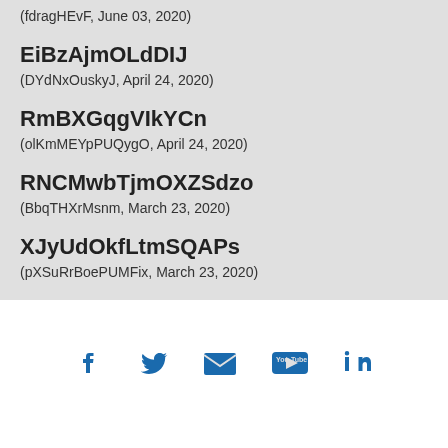(fdragHEvF, June 03, 2020)
EiBzAjmOLdDIJ
(DYdNxOuskyJ, April 24, 2020)
RmBXGqgVIkYCn
(olKmMEYpPUQygO, April 24, 2020)
RNCMwbTjmOXZSdzo
(BbqTHXrMsnm, March 23, 2020)
XJyUdOkfLtmSQAPs
(pXSuRrBoePUMFix, March 23, 2020)
[Figure (infographic): Social media icons row: Facebook, Twitter, Email/envelope, YouTube, LinkedIn — all in blue]